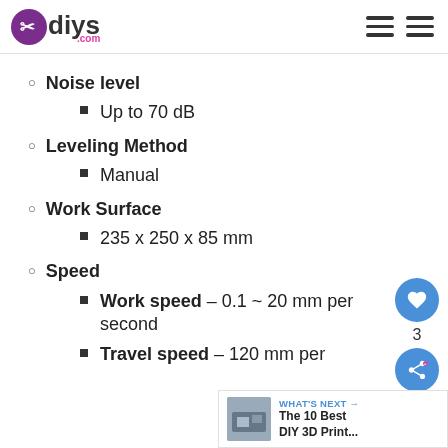diys.com
Noise level
Up to 70 dB
Leveling Method
Manual
Work Surface
235 x 250 x 85 mm
Speed
Work speed – 0.1 ~ 20 mm per second
Travel speed – 120 mm per